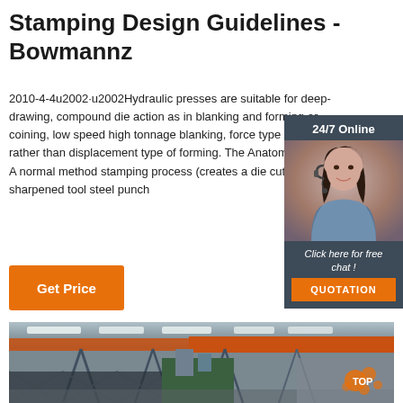Stamping Design Guidelines - Bowmannz
2010-4-4u2002·u2002Hydraulic presses are suitable for deep-drawing, compound die action as in blanking and forming or coining, low speed high tonnage blanking, force type of forming rather than displacement type of forming. The Anatomy of a Die Cut A normal method stamping process (creates a die cut) is to drive a sharpened tool steel punch
[Figure (other): 24/7 Online chat widget with a woman wearing a headset, with a 'QUOTATION' button]
[Figure (photo): Industrial factory interior with overhead cranes and equipment, orange structural beam visible]
Get Price